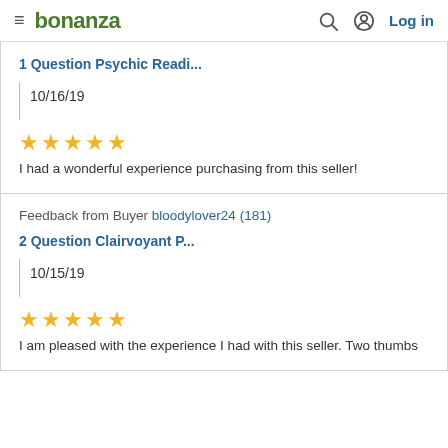bonanza | Log in
1 Question Psychic Readi...
10/16/19
★★★★★
I had a wonderful experience purchasing from this seller!
Feedback from Buyer bloodylover24 (181)
2 Question Clairvoyant P...
10/15/19
★★★★★
I am pleased with the experience I had with this seller. Two thumbs